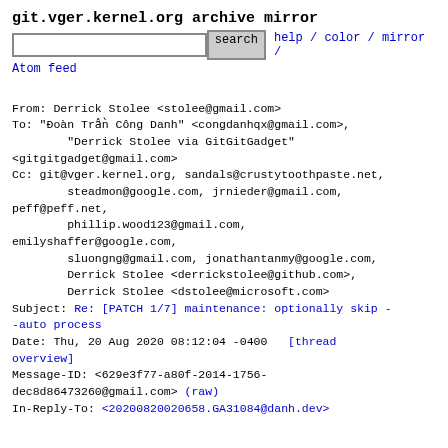git.vger.kernel.org archive mirror
search   help / color / mirror / Atom feed
From: Derrick Stolee <stolee@gmail.com>
To: "Đoàn Trần Công Danh" <congdanhqx@gmail.com>,
        "Derrick Stolee via GitGitGadget"
<gitgitgadget@gmail.com>
Cc: git@vger.kernel.org, sandals@crustytoothpaste.net,
        steadmon@google.com, jrnieder@gmail.com,
peff@peff.net,
        phillip.wood123@gmail.com,
emilyshaffer@google.com,
        sluongng@gmail.com, jonathantanmy@google.com,
        Derrick Stolee <derrickstolee@github.com>,
        Derrick Stolee <dstolee@microsoft.com>
Subject: Re: [PATCH 1/7] maintenance: optionally skip --auto process
Date: Thu, 20 Aug 2020 08:12:04 -0400   [thread overview]
Message-ID: <629e3f77-a80f-2014-1756-dec8d86473260@gmail.com> (raw)
In-Reply-To: <20200820020658.GA31084@danh.dev>
On 8/19/2020 10:06 PM, Đoàn Trần Công Danh wrote:
> On 2020-08-19 17:16:42+0000, Derrick Stolee via
GitGitGadget <gitgitgadget@gmail.com> wrote:
>> From: Derrick Stolee <dstolee@microsoft.com>
>> @@ -1868,8 +1869,15 @@ int